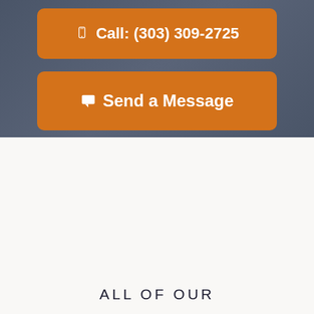Call: (303) 309-2725
Send a Message
ALL OF OUR